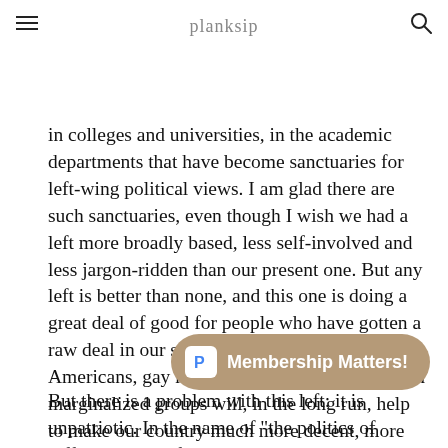planksip
identity politics and emerging Social Justice Warriors of his day, barricading themselves
in colleges and universities, in the academic departments that have become sanctuaries for left-wing political views. I am glad there are such sanctuaries, even though I wish we had a left more broadly based, less self-involved and less jargon-ridden than our present one. But any left is better than none, and this one is doing a great deal of good for people who have gotten a raw deal in our society: women, African-Americans, gay men and lesbians. This focus on marginalized groups will, in the long run, help to make our country much more decent, more tolerant and more civilized.
[Figure (other): Membership Matters! promotional button with Podchaser-style P logo icon on tan/brown rounded pill button]
But there is a problem with this left: it is unpatriotic. In the name of "the politics of difference," it refuses to